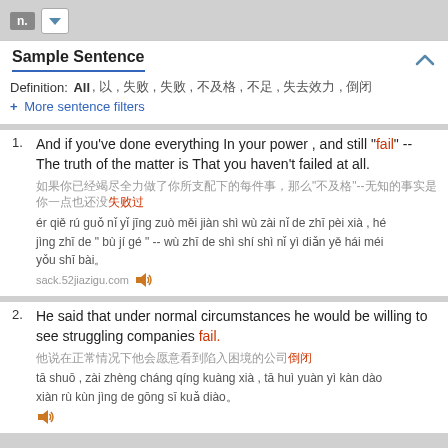Sample Sentence
Definition: All , 以 , 失败 , 失败 , 不及格 , 不足 , 失去效力 , 倒闭
+ More sentence filters
And if you've done everything In your power , and still "fail" -- The truth of the matter is That you haven't failed at all.
He said that under normal circumstances he would be willing to see struggling companies fail.